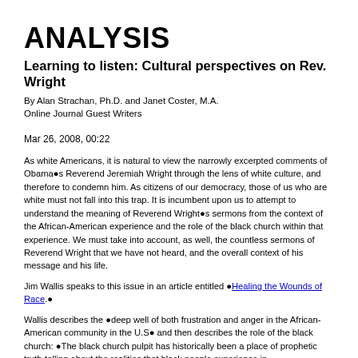ANALYSIS
Learning to listen: Cultural perspectives on Rev. Wright
By Alan Strachan, Ph.D. and Janet Coster, M.A.
Online Journal Guest Writers
Mar 26, 2008, 00:22
As white Americans, it is natural to view the narrowly excerpted comments of Obama●s Reverend Jeremiah Wright through the lens of white culture, and therefore to condemn him. As citizens of our democracy, those of us who are white must not fall into this trap. It is incumbent upon us to attempt to understand the meaning of Reverend Wright●s sermons from the context of the African-American experience and the role of the black church within that experience. We must take into account, as well, the countless sermons of Reverend Wright that we have not heard, and the overall context of his message and his life.
Jim Wallis speaks to this issue in an article entitled ●Healing the Wounds of Race.●
Wallis describes the ●deep well of both frustration and anger in the African-American community in the U.S● and then describes the role of the black church: ●The black church pulpit has historically been a place of prophetic truth-telling about the realities that black people experience in